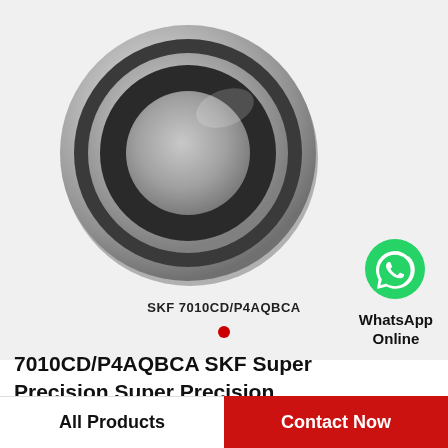[Figure (photo): Angular contact ball bearing SKF 7010CD/P4AQBCA shown in perspective view, metallic silver/grey color with dark inner ring visible]
SKF 7010CD/P4AQBCA
[Figure (logo): WhatsApp green circular logo icon with white phone handset]
WhatsApp Online
7010CD/P4AQBCA SKF Super Precision,Super Precision Bearings,Super Precision Angular…
All Products | Contact Now